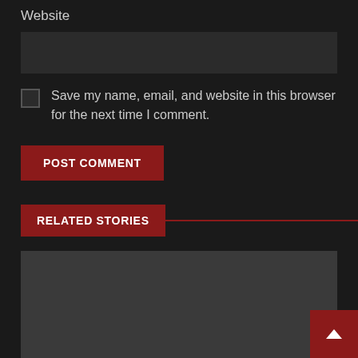Website
[Figure (other): Website text input field, dark background]
Save my name, email, and website in this browser for the next time I comment.
POST COMMENT
RELATED STORIES
[Figure (other): Dark gray image placeholder for related stories]